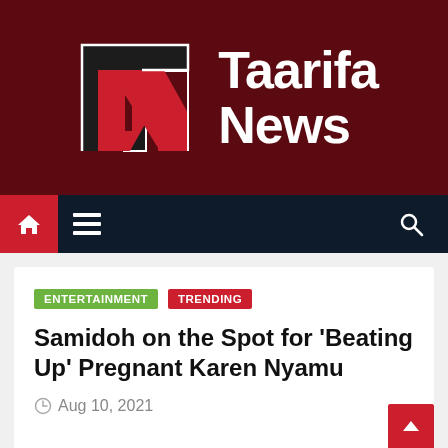[Figure (logo): Taarifa News logo — TN monogram in black, white and red on dark red background with text 'Taarifa News' in white bold]
Home menu navigation bar with search icon
ENTERTAINMENT   TRENDING
Samidoh on the Spot for 'Beating Up' Pregnant Karen Nyamu
Aug 10, 2021